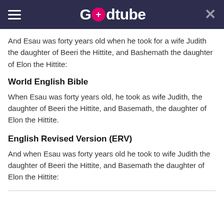Godtube
And Esau was forty years old when he took for a wife Judith the daughter of Beeri the Hittite, and Bashemath the daughter of Elon the Hittite:
World English Bible
When Esau was forty years old, he took as wife Judith, the daughter of Beeri the Hittite, and Basemath, the daughter of Elon the Hittite.
English Revised Version (ERV)
And when Esau was forty years old he took to wife Judith the daughter of Beeri the Hittite, and Basemath the daughter of Elon the Hittite: